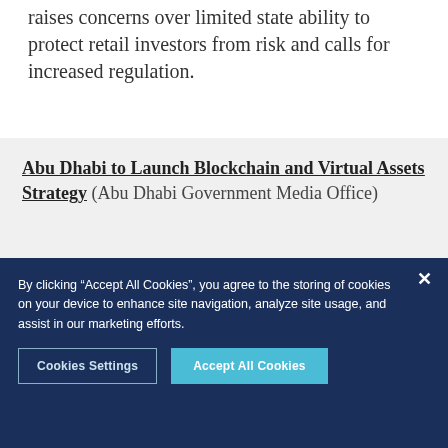raises concerns over limited state ability to protect retail investors from risk and calls for increased regulation.
Abu Dhabi to Launch Blockchain and Virtual Assets Strategy (Abu Dhabi Government Media Office)
By clicking “Accept All Cookies”, you agree to the storing of cookies on your device to enhance site navigation, analyze site usage, and assist in our marketing efforts.